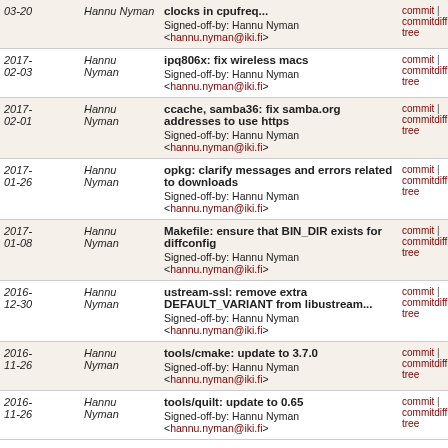| Date | Author | Commit | Links |
| --- | --- | --- | --- |
| 03-20 | Hannu Nyman | clocks in cpufreq...
Signed-off-by: Hannu Nyman <hannu.nyman@iki.fi> | commit | commitdiff | tree |
| 2017-02-03 | Hannu Nyman | ipq806x: fix wireless macs
Signed-off-by: Hannu Nyman <hannu.nyman@iki.fi> | commit | commitdiff | tree |
| 2017-02-01 | Hannu Nyman | ccache, samba36: fix samba.org addresses to use https
Signed-off-by: Hannu Nyman <hannu.nyman@iki.fi> | commit | commitdiff | tree |
| 2017-01-26 | Hannu Nyman | opkg: clarify messages and errors related to downloads
Signed-off-by: Hannu Nyman <hannu.nyman@iki.fi> | commit | commitdiff | tree |
| 2017-01-08 | Hannu Nyman | Makefile: ensure that BIN_DIR exists for diffconfig
Signed-off-by: Hannu Nyman <hannu.nyman@iki.fi> | commit | commitdiff | tree |
| 2016-12-30 | Hannu Nyman | ustream-ssl: remove extra DEFAULT_VARIANT from libustream...
Signed-off-by: Hannu Nyman <hannu.nyman@iki.fi> | commit | commitdiff | tree |
| 2016-11-26 | Hannu Nyman | tools/cmake: update to 3.7.0
Signed-off-by: Hannu Nyman <hannu.nyman@iki.fi> | commit | commitdiff | tree |
| 2016-11-26 | Hannu Nyman | tools/quilt: update to 0.65
Signed-off-by: Hannu Nyman <hannu.nyman@iki.fi> | commit | commitdiff | tree |